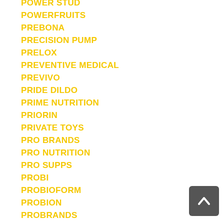POWER STUD
POWERFRUITS
PREBONA
PRECISION PUMP
PRELOX
PREVENTIVE MEDICAL
PREVIVO
PRIDE DILDO
PRIME NUTRITION
PRIORIN
PRIVATE TOYS
PRO BRANDS
PRO NUTRITION
PRO SUPPS
PROBI
PROBIOFORM
PROBION
PROBRANDS
PROCALMIN
PROFAST
PROIBIS
PROMILLESS
PRONAXEN
[Figure (other): Back to top button arrow up]